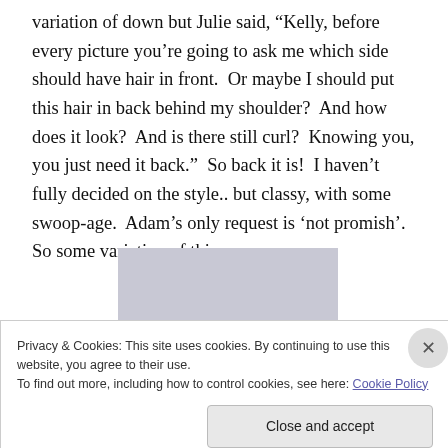variation of down but Julie said, “Kelly, before every picture you’re going to ask me which side should have hair in front.  Or maybe I should put this hair in back behind my shoulder?  And how does it look?  And is there still curl?  Knowing you, you just need it back.”  So back it is!  I haven’t fully decided on the style.. but classy, with some swoop-age.  Adam’s only request is ‘not promish’.  So some variation of this:
[Figure (photo): Partial top-of-head photo showing dark hair against a light grey-blue background]
Privacy & Cookies: This site uses cookies. By continuing to use this website, you agree to their use.
To find out more, including how to control cookies, see here: Cookie Policy
Close and accept